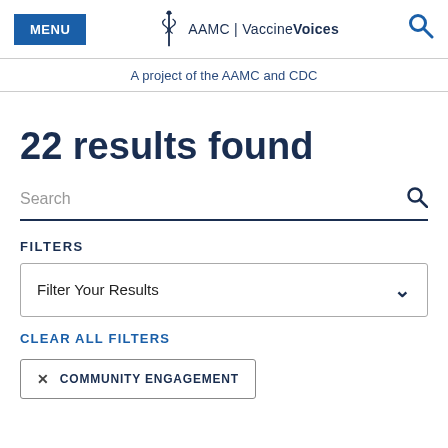MENU | AAMC | VaccineVoices | [search icon]
A project of the AAMC and CDC
22 results found
Search
FILTERS
Filter Your Results
CLEAR ALL FILTERS
× COMMUNITY ENGAGEMENT